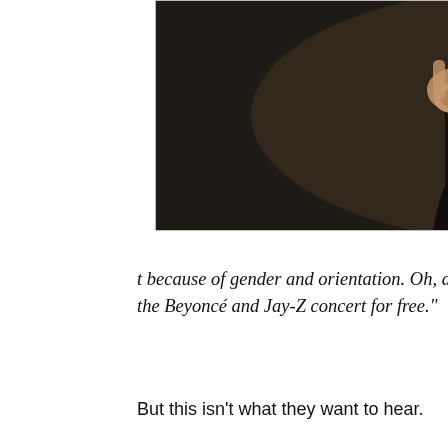[Figure (photo): Photo of a woman in a black dress making hand gestures (diamond/OK signs) with both hands, smiling with red lips, wearing earrings. Partially cropped, dark background.]
t because of gender and orientation. Oh, and I got to see the Beyoncé and Jay-Z concert for free."
But this isn't what they want to hear.
They want to hear a watered down version of how rewarding the summer was for me with a sprinkle of internship rhetoric and a dash of the New York-y tasks I've completed. They want to hear about my struggles on the subway system because the prison industrial complex doesn't contain adorable anecdotes of my taking the wrong train. They want to hear about how expensive